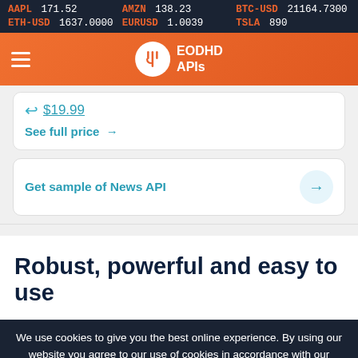AAPL 171.52   AMZN 138.23   BTC-USD 21164.7300   ETH-USD 1637.0000   EURUSD 1.0039   TSLA 890
[Figure (logo): EODHD APIs logo with fork and knife icon on orange navigation bar with hamburger menu]
$19.99
See full price →
Get sample of News API →
Robust, powerful and easy to use
We use cookies to give you the best online experience. By using our website you agree to our use of cookies in accordance with our cookie policy.
OK